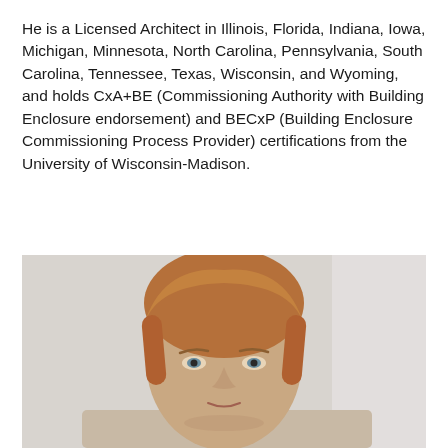He is a Licensed Architect in Illinois, Florida, Indiana, Iowa, Michigan, Minnesota, North Carolina, Pennsylvania, South Carolina, Tennessee, Texas, Wisconsin, and Wyoming, and holds CxA+BE (Commissioning Authority with Building Enclosure endorsement) and BECxP (Building Enclosure Commissioning Process Provider) certifications from the University of Wisconsin-Madison.
[Figure (photo): Headshot portrait of a person with short reddish-blonde hair against a light gray/white background, cropped from shoulders up, showing face and top of head.]